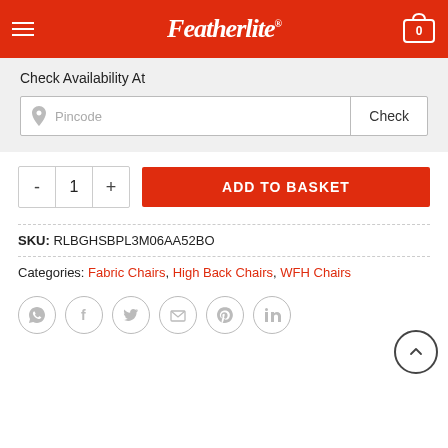Featherlite®
Check Availability At
Pincode  Check
- 1 +  ADD TO BASKET
SKU: RLBGHSBPL3M06AA52BO
Categories: Fabric Chairs, High Back Chairs, WFH Chairs
[Figure (infographic): Social share icons: WhatsApp, Facebook, Twitter, Email, Pinterest, LinkedIn — circular outlined icons in a row]